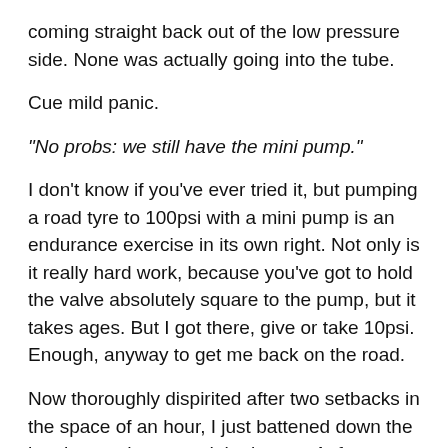coming straight back out of the low pressure side. None was actually going into the tube.
Cue mild panic.
"No probs: we still have the mini pump."
I don't know if you've ever tried it, but pumping a road tyre to 100psi with a mini pump is an endurance exercise in its own right. Not only is it really hard work, because you've got to hold the valve absolutely square to the pump, but it takes ages. But I got there, give or take 10psi. Enough, anyway to get me back on the road.
Now thoroughly dispirited after two setbacks in the space of an hour, I just battened down the hatches and accepted the losses. At four o'clock, on reaching Gurley, I abandoned ship and we called it a day. I'd made the